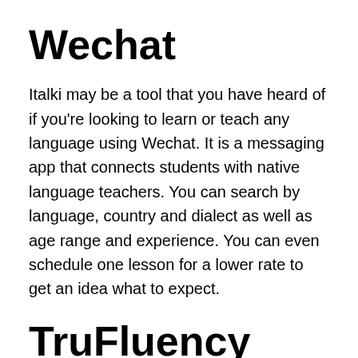Wechat
Italki may be a tool that you have heard of if you're looking to learn or teach any language using Wechat. It is a messaging app that connects students with native language teachers. You can search by language, country and dialect as well as age range and experience. You can even schedule one lesson for a lower rate to get an idea what to expect.
TruFluency
If you're thinking of using a virtual classroom for teaching or learning any language, you're